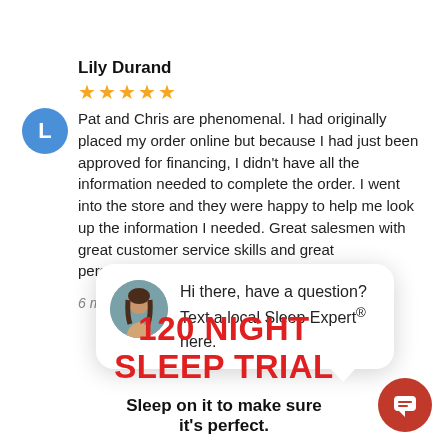Lily Durand
[Figure (other): Five orange star rating icons]
Pat and Chris are phenomenal. I had originally placed my order online but because I had just been approved for financing, I didn't have all the information needed to complete the order. I went into the store and they were happy to help me look up the information I needed. Great salesmen with great customer service skills and great personalities. Highly recomm
6 months ago
close
[Figure (photo): Chat popup with a woman's avatar photo and text: Hi there, have a question? Text a local Sleep Expert® here.]
Hi there, have a question? Text a local Sleep Expert® here.
120 NIGHT SLEEP TRIAL
Sleep on it to make sure it's perfect.
[Figure (other): Red circular chat button with speech bubble icon at bottom right]